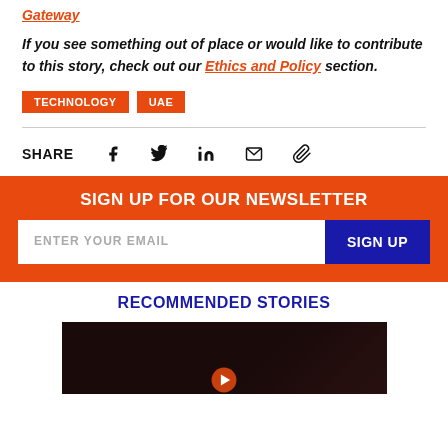Gateway
If you see something out of place or would like to contribute to this story, check out our Ethics and Policy section.
TECHNOLOGY
UAE
SHARE
SIGN UP FOR OUR NEWSLETTER
ENTER YOUR EMAIL
SIGN UP
RECOMMENDED STORIES
[Figure (photo): Dark image, recommended story thumbnail]